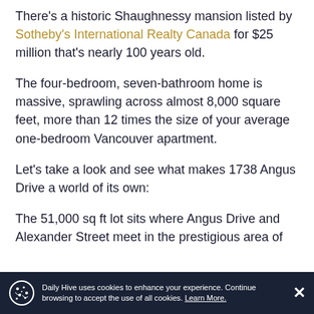There's a historic Shaughnessy mansion listed by Sotheby's International Realty Canada for $25 million that's nearly 100 years old.
The four-bedroom, seven-bathroom home is massive, sprawling across almost 8,000 square feet, more than 12 times the size of your average one-bedroom Vancouver apartment.
Let's take a look and see what makes 1738 Angus Drive a world of its own:
The 51,000 sq ft lot sits where Angus Drive and Alexander Street meet in the prestigious area of...
Daily Hive uses cookies to enhance your experience. Continue browsing to accept the use of all cookies. Learn More.